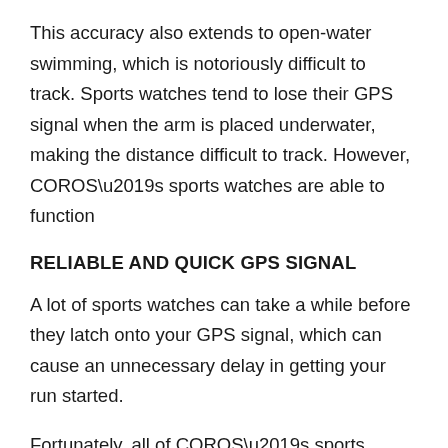This accuracy also extends to open-water swimming, which is notoriously difficult to track. Sports watches tend to lose their GPS signal when the arm is placed underwater, making the distance difficult to track. However, COROS’s sports watches are able to function
RELIABLE AND QUICK GPS SIGNAL
A lot of sports watches can take a while before they latch onto your GPS signal, which can cause an unnecessary delay in getting your run started.
Fortunately, all of COROS’s sports watches have